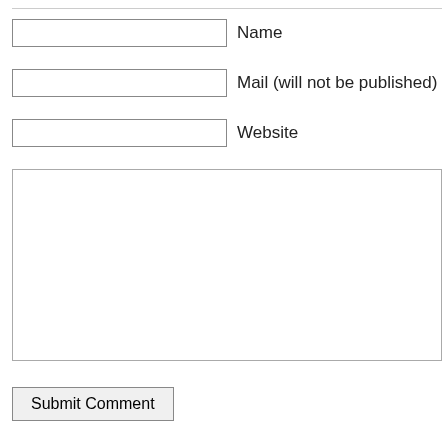Name
Mail (will not be published)
Website
Submit Comment